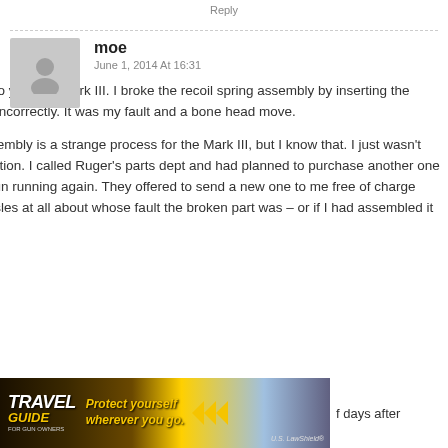Reply
moe
June 1, 2014 At 16:31
I've got a two year old Mark III. I broke the recoil spring assembly by inserting the mainspring incorrectly. It was my fault and a bone head move.
Yeah, reassembly is a strange process for the Mark III, but I know that. I just wasn't paying attention. I called Ruger's parts dept and had planned to purchase another one to get the gun running again. They offered to send a new one to me free of charge with no hassles at all about whose fault the broken part was – or if I had assembled it properly.
[Figure (infographic): Travel Guide for Gun Owners advertisement banner with text 'Protect yourself wherever you go.' and U.S. LawShield branding]
f days after